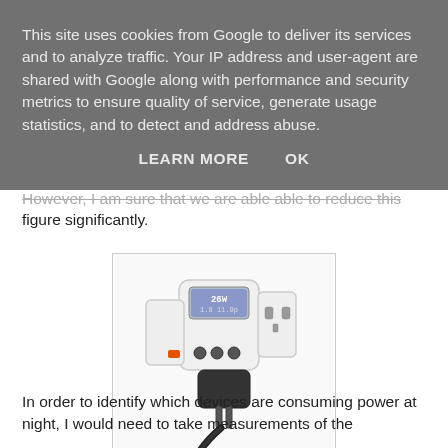This site uses cookies from Google to deliver its services and to analyze traffic. Your IP address and user-agent are shared with Google along with performance and security metrics to ensure quality of service, generate usage statistics, and to detect and address abuse.

LEARN MORE    OK
However, I am sure that we are able able to reduce this figure significantly.
[Figure (photo): A white electricity power monitor / energy meter device plugged into a wall socket, with a digital LCD display showing numbers (26 and other readings), several buttons, and a black power adapter plugged into it.]
In order to identify which devices are consuming power at night, I would need to take measurements of the